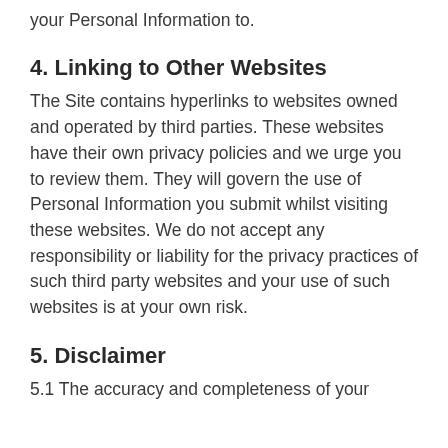your Personal Information to.
4. Linking to Other Websites
The Site contains hyperlinks to websites owned and operated by third parties. These websites have their own privacy policies and we urge you to review them. They will govern the use of Personal Information you submit whilst visiting these websites. We do not accept any responsibility or liability for the privacy practices of such third party websites and your use of such websites is at your own risk.
5. Disclaimer
5.1 The accuracy and completeness of your